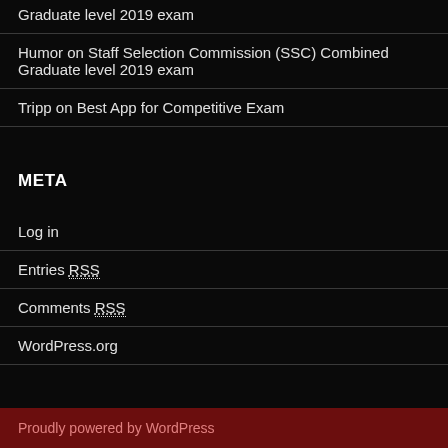Graduate level 2019 exam
Humor on Staff Selection Commission (SSC) Combined Graduate level 2019 exam
Tripp on Best App for Competitive Exam
META
Log in
Entries RSS
Comments RSS
WordPress.org
Proudly powered by WordPress